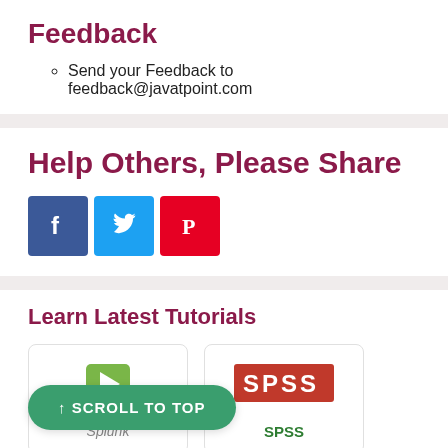Feedback
Send your Feedback to feedback@javatpoint.com
Help Others, Please Share
[Figure (infographic): Social share buttons: Facebook (blue), Twitter (light blue), Pinterest (red)]
Learn Latest Tutorials
[Figure (logo): Splunk logo - green arrow icon with splunk> text]
[Figure (logo): SPSS logo - red rectangle with white SPSS text]